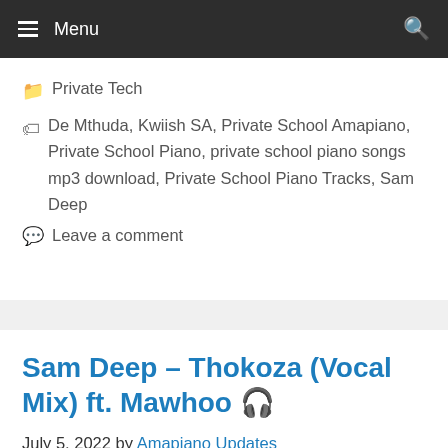Menu
Private Tech
De Mthuda, Kwiish SA, Private School Amapiano, Private School Piano, private school piano songs mp3 download, Private School Piano Tracks, Sam Deep
Leave a comment
Sam Deep – Thokoza (Vocal Mix) ft. Mawhoo 🎵
July 5, 2022 by Amapiano Updates